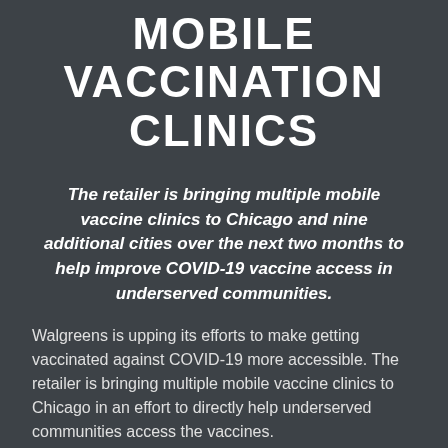MOBILE VACCINATION CLINICS
The retailer is bringing multiple mobile vaccine clinics to Chicago and nine additional cities over the next two months to help improve COVID-19 vaccine access in underserved communities.
Walgreens is upping its efforts to make getting vaccinated against COVID-19 more accessible. The retailer is bringing multiple mobile vaccine clinics to Chicago in an effort to directly help underserved communities access the vaccines.
Walgreens said that it would be expanding the